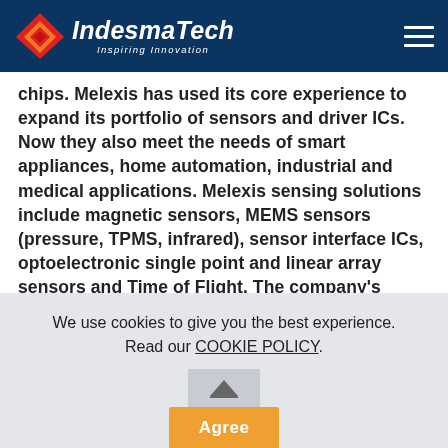IndesmaTech — Inspiring Innovation
chips. Melexis has used its core experience to expand its portfolio of sensors and driver ICs. Now they also meet the needs of smart appliances, home automation, industrial and medical applications. Melexis sensing solutions include magnetic sensors, MEMS sensors (pressure, TPMS, infrared), sensor interface ICs, optoelectronic single point and linear array sensors and Time of Flight. The company's driver IC portfolio incorporates advanced DC & BLDC motor controllers, LED drivers and FET pre-driver ICs, while
We use cookies to give you the best experience. Read our COOKIE POLICY.